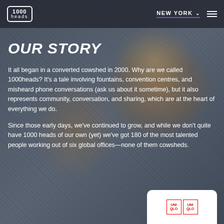1000heads | NEW YORK
OUR STORY
It all began in a converted cowshed in 2000. Why are we called 1000heads? It's a tale involving fountains, convention centres, and misheard phone conversations (ask us about it sometime), but it also represents community, conversation, and sharing, which are at the heart of everything we do.
Since those early days, we've continued to grow, and while we don't quite have 1000 heads of our own (yet) we've got 180 of the most talented people working out of six global offices—none of them cowsheds.
[Figure (logo): Uniqlo logo card at bottom of page]